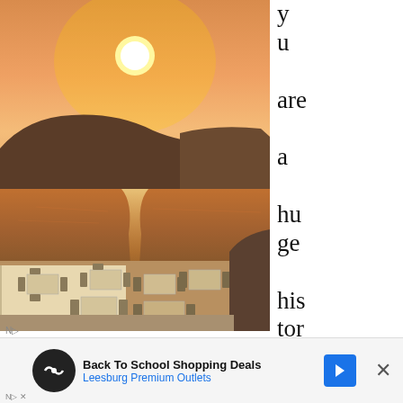[Figure (photo): Sunset over the sea viewed from a restaurant terrace in Santorini, Greece. Orange sky with sun, island silhouette on the horizon, white terrace with tables and chairs in the foreground.]
you are a huge history buff
or professor of archaeology, you probably should consider spending more time in Athens or elsewhere on the mainland
[Figure (other): Share icon button (circular, white background with share symbol)]
[Figure (other): Advertisement banner: Back To School Shopping Deals - Leesburg Premium Outlets]